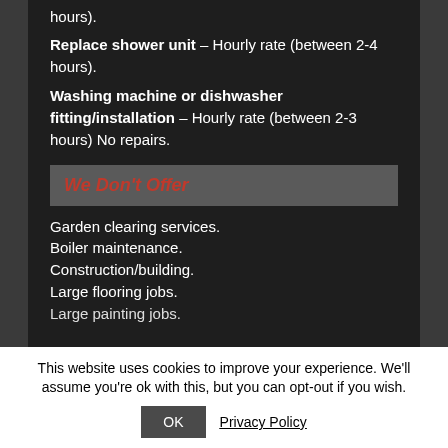hours).
Replace shower unit – Hourly rate (between 2-4 hours).
Washing machine or dishwasher fitting/installation – Hourly rate (between 2-3 hours) No repairs.
We Don't Offer
Garden clearing services.
Boiler maintenance.
Construction/building.
Large flooring jobs.
Large painting jobs.
This website uses cookies to improve your experience. We'll assume you're ok with this, but you can opt-out if you wish.
OK  Privacy Policy